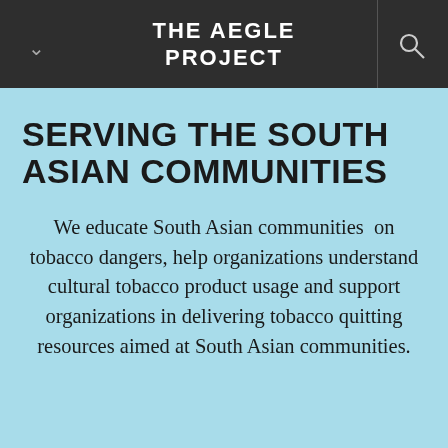THE AEGLE PROJECT
SERVING THE SOUTH ASIAN COMMUNITIES
We educate South Asian communities  on tobacco dangers, help organizations understand cultural tobacco product usage and support organizations in delivering tobacco quitting resources aimed at South Asian communities.